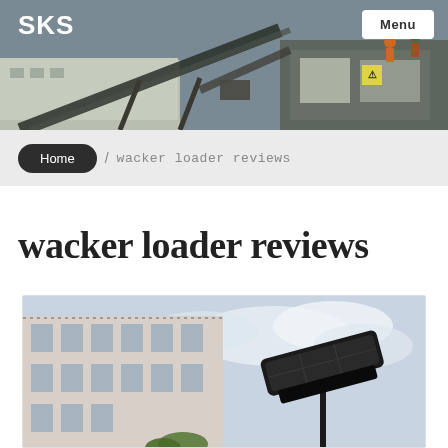SKS
[Figure (photo): Industrial machinery/crushing plant with conveyor belts and workers visible in background, header banner image]
Menu
Home / wacker loader reviews
wacker loader reviews
[Figure (photo): Outdoor photo showing a building with windows and a solar-powered street light or similar mounted device on a pole against a cloudy sky]